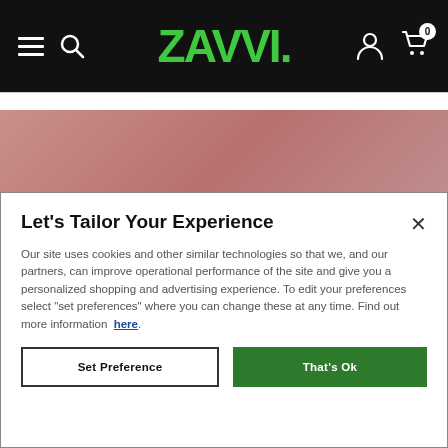Zavvi — navigation bar with hamburger menu, search, logo, account and cart icons
[Figure (screenshot): Pink/mauve banner image partially visible behind cookie modal]
Let's Tailor Your Experience
Our site uses cookies and other similar technologies so that we, and our partners, can improve operational performance of the site and give you a personalized shopping and advertising experience. To edit your preferences select "set preferences" where you can change these at any time. Find out more information here.